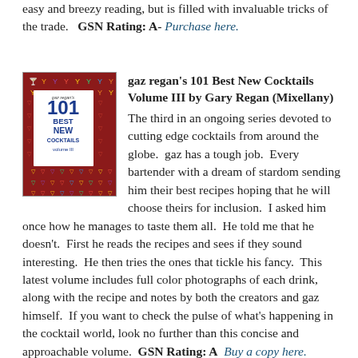easy and breezy reading, but is filled with invaluable tricks of the trade.  GSN Rating: A-  Purchase here.
[Figure (photo): Book cover of 'gaz regan's 101 Best New Cocktails Volume III' with dark red background covered in cocktail glass icons, and a white label in the center with the title text.]
gaz regan's 101 Best New Cocktails Volume III by Gary Regan (Mixellany) The third in an ongoing series devoted to cutting edge cocktails from around the globe.  gaz has a tough job.  Every bartender with a dream of stardom sending him their best recipes hoping that he will choose theirs for inclusion.  I asked him once how he manages to taste them all.  He told me that he doesn't.  First he reads the recipes and sees if they sound interesting.  He then tries the ones that tickle his fancy.  This latest volume includes full color photographs of each drink, along with the recipe and notes by both the creators and gaz himself.  If you want to check the pulse of what's happening in the cocktail world, look no further than this concise and approachable volume.  GSN Rating: A  Buy a copy here.